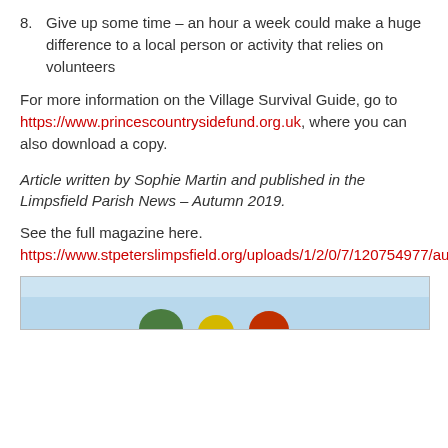8. Give up some time – an hour a week could make a huge difference to a local person or activity that relies on volunteers
For more information on the Village Survival Guide, go to https://www.princescountrysidefund.org.uk, where you can also download a copy.
Article written by Sophie Martin and published in the Limpsfield Parish News – Autumn 2019.
See the full magazine here. https://www.stpeterslimpsfield.org/uploads/1/2/0/7/120754977/autumn_2019_web.pdf
[Figure (photo): Partial photo visible at bottom of page, showing sky and colored circular objects]